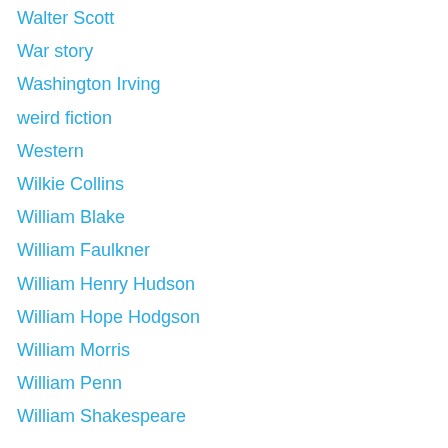Walter Scott
War story
Washington Irving
weird fiction
Western
Wilkie Collins
William Blake
William Faulkner
William Henry Hudson
William Hope Hodgson
William Morris
William Penn
William Shakespeare